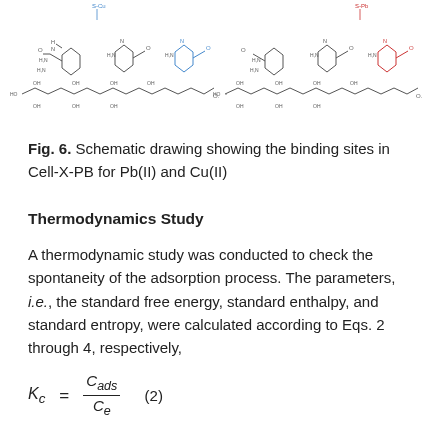[Figure (schematic): Schematic chemical structure drawing showing the binding sites in Cell-X-PB for Pb(II) and Cu(II), depicting molecular structures with functional groups including NH2, OH, and metal coordination sites, shown in two variants side by side.]
Fig. 6. Schematic drawing showing the binding sites in Cell-X-PB for Pb(II) and Cu(II)
Thermodynamics Study
A thermodynamic study was conducted to check the spontaneity of the adsorption process. The parameters, i.e., the standard free energy, standard enthalpy, and standard entropy, were calculated according to Eqs. 2 through 4, respectively,